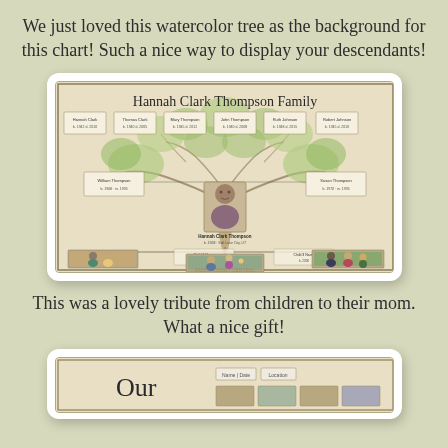We just loved this watercolor tree as the background for this chart!  Such a nice way to display your descendants!
[Figure (illustration): A framed family descendant chart titled 'Hannah Clark Thompson Family' with a watercolor tree background, showing multiple generations with photos and text boxes, including three family photos at the bottom.]
This was a lovely tribute from children to their mom.  What a nice gift!
[Figure (illustration): Partial view of a second family chart with cursive text starting with 'Our' and small photos visible.]